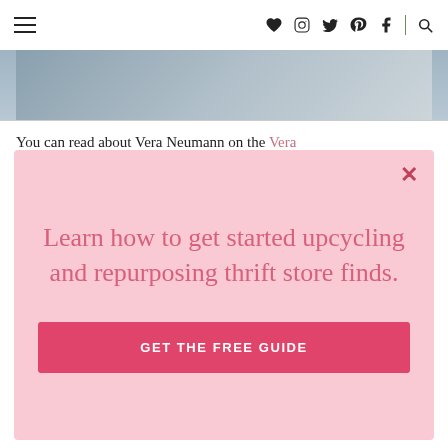Navigation bar with hamburger menu and social icons (heart, instagram, twitter, pinterest, facebook, search)
[Figure (photo): Partial image strip visible at top, gray-blue gradient background]
You can read about Vera Neumann on the Vera
Learn how to get started upcycling and repurposing thrift store finds.
GET THE FREE GUIDE